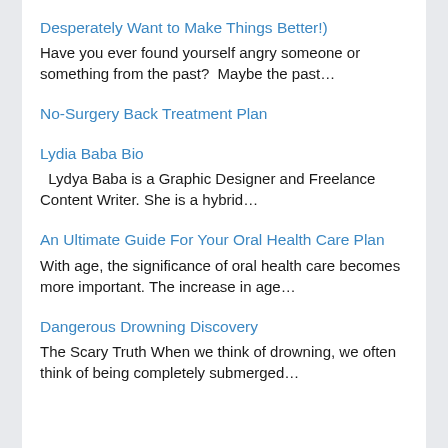Desperately Want to Make Things Better!)
Have you ever found yourself angry someone or something from the past?  Maybe the past…
No-Surgery Back Treatment Plan
Lydia Baba Bio
Lydya Baba is a Graphic Designer and Freelance Content Writer. She is a hybrid…
An Ultimate Guide For Your Oral Health Care Plan
With age, the significance of oral health care becomes more important. The increase in age…
Dangerous Drowning Discovery
The Scary Truth When we think of drowning, we often think of being completely submerged…